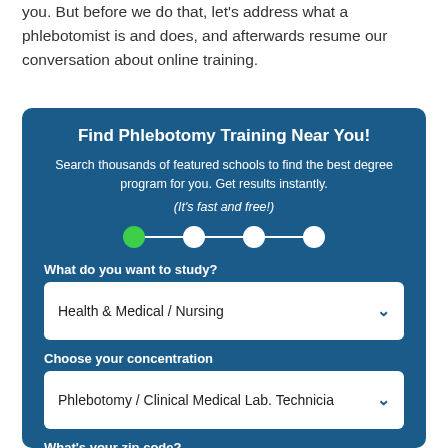you. But before we do that, let's address what a phlebotomist is and does, and afterwards resume our conversation about online training.
Find Phlebotomy Training Near You!
Search thousands of featured schools to find the best degree program for you. Get results instantly. (It's fast and free!)
[Figure (infographic): Step progress indicator with 4 circles connected by lines; first circle is green (active), remaining three are white]
What do you want to study?
Health & Medical / Nursing
Choose your concentration
Phlebotomy / Clinical Medical Lab. Technicia
What's your zip code?